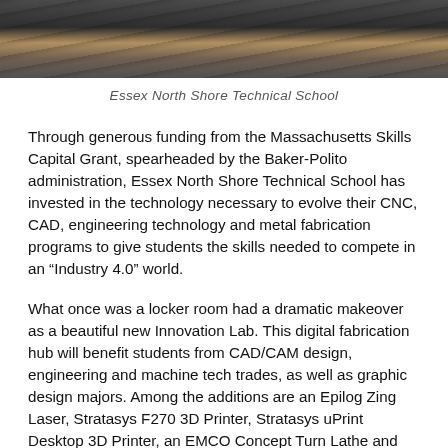[Figure (photo): Close-up photo of metal machinery or industrial equipment surface, showing dark metallic tones with a tan/gold stripe]
Essex North Shore Technical School
Through generous funding from the Massachusetts Skills Capital Grant, spearheaded by the Baker-Polito administration, Essex North Shore Technical School has invested in the technology necessary to evolve their CNC, CAD, engineering technology and metal fabrication programs to give students the skills needed to compete in an “Industry 4.0” world.
What once was a locker room had a dramatic makeover as a beautiful new Innovation Lab. This digital fabrication hub will benefit students from CAD/CAM design, engineering and machine tech trades, as well as graphic design majors. Among the additions are an Epilog Zing Laser, Stratasys F270 3D Printer, Stratasys uPrint Desktop 3D Printer, an EMCO Concept Turn Lathe and and